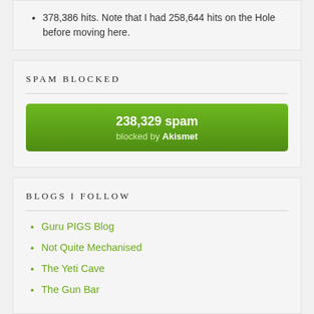378,386 hits. Note that I had 258,644 hits on the Hole before moving here.
SPAM BLOCKED
238,329 spam blocked by Akismet
BLOGS I FOLLOW
Guru PIGS Blog
Not Quite Mechanised
The Yeti Cave
The Gun Bar